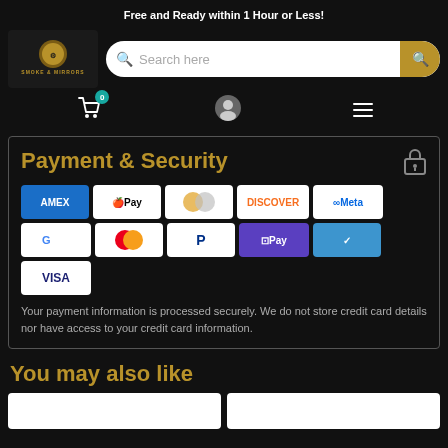Free and Ready within 1 Hour or Less!
[Figure (logo): Smoke & Mirrors logo with golden medallion on dark background]
[Figure (screenshot): Search bar with search icon and golden search button]
[Figure (infographic): Navigation icons: shopping cart with badge 0, user profile icon, hamburger menu]
Payment & Security
[Figure (infographic): Payment method logos: American Express, Apple Pay, Diners Club, Discover, Meta Pay, Google Pay, Mastercard, PayPal, Shop Pay, Venmo, Visa]
Your payment information is processed securely. We do not store credit card details nor have access to your credit card information.
You may also like